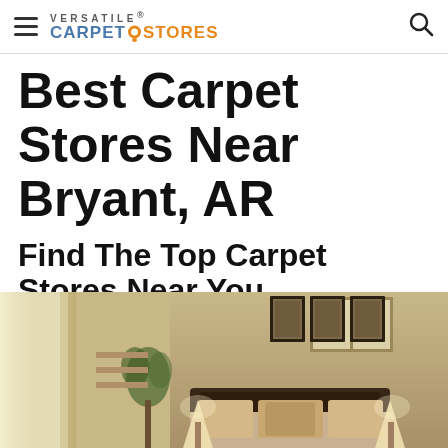Versatile Carpet Stores
Best Carpet Stores Near Bryant, AR
Find The Top Carpet Stores Near You
[Figure (photo): Interior bedroom photo showing a warmly lit room with a dark wood headboard bed, decorative pillows, framed artwork on the wall, a plant, and windows with curtains.]